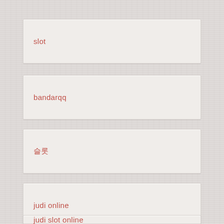slot
bandarqq
슬롯
judi online
judi slot online